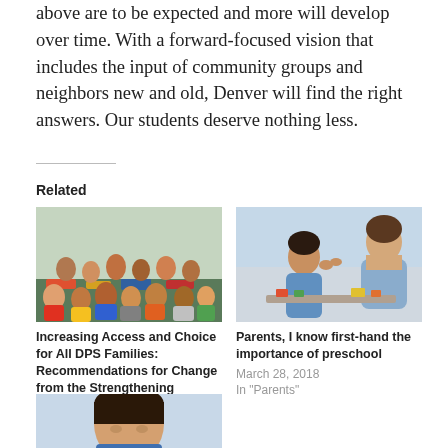above are to be expected and more will develop over time. With a forward-focused vision that includes the input of community groups and neighbors new and old, Denver will find the right answers. Our students deserve nothing less.
Related
[Figure (photo): Group of young children in a classroom, many smiling at camera, seated on a colorful rug]
Increasing Access and Choice for All DPS Families: Recommendations for Change from the Strengthening Neighborhoods Committee
January 29, 2018
In "Equity"
[Figure (photo): Two young girls in a classroom, one whispering to the other, with a teacher in the background]
Parents, I know first-hand the importance of preschool
March 28, 2018
In "Parents"
[Figure (photo): Close-up of a child looking down, partially visible at bottom of page]